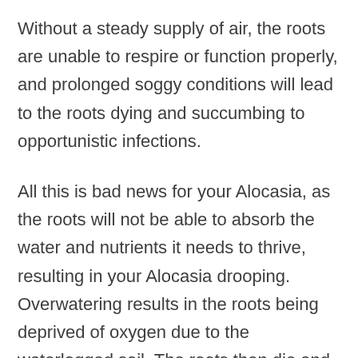Without a steady supply of air, the roots are unable to respire or function properly, and prolonged soggy conditions will lead to the roots dying and succumbing to opportunistic infections.
All this is bad news for your Alocasia, as the roots will not be able to absorb the water and nutrients it needs to thrive, resulting in your Alocasia drooping. Overwatering results in the roots being deprived of oxygen due to the waterlogged soil. The roots then die and the plant can't absorb water, which will result in your Alocasia leaves drooping.